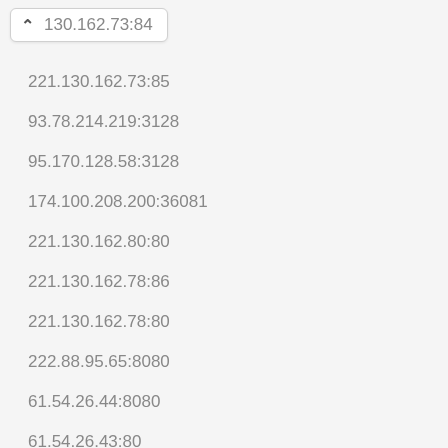130.162.73:84
221.130.162.73:85
93.78.214.219:3128
95.170.128.58:3128
174.100.208.200:36081
221.130.162.80:80
221.130.162.78:86
221.130.162.78:80
222.88.95.65:8080
61.54.26.44:8080
61.54.26.43:80
222.88.95.66:8080